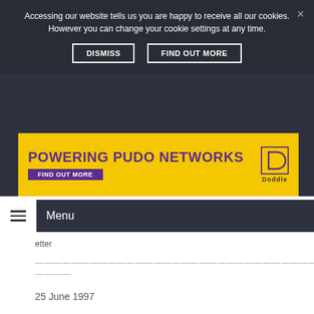Accessing our website tells us you are happy to receive all our cookies. However you can change your cookie settings at any time.
DISMISS   FIND OUT MORE
[Figure (infographic): Yellow advertisement banner for Doddle reading 'POWERING PUDO NETWORKS' with 'FIND OUT MORE' button and Doddle D logo]
Menu
etter
————————————————————————————————————————————————————
————
25 June 1997